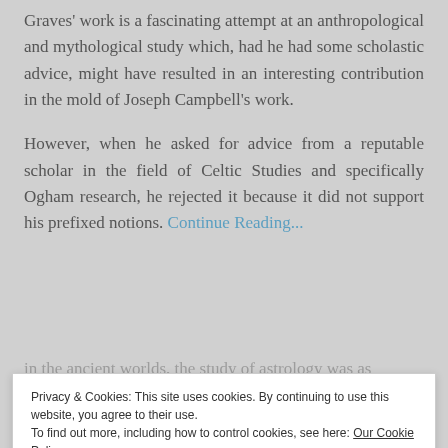Graves' work is a fascinating attempt at an anthropological and mythological study which, had he had some scholastic advice, might have resulted in an interesting contribution in the mold of Joseph Campbell's work.
However, when he asked for advice from a reputable scholar in the field of Celtic Studies and specifically Ogham research, he rejected it because it did not support his prefixed notions. Continue Reading...
in the ancient worlds, the study of astrology was as
Privacy & Cookies: This site uses cookies. By continuing to use this website, you agree to their use. To find out more, including how to control cookies, see here: Our Cookie Policy
Close and accept